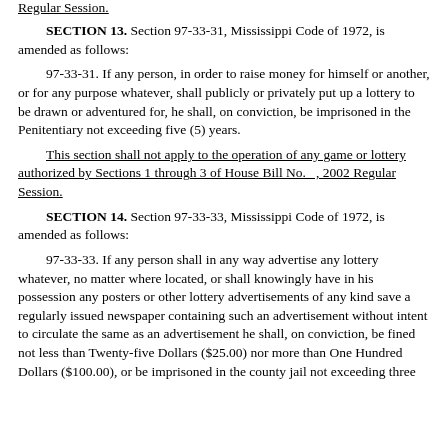Regular Session.
SECTION 13.  Section 97-33-31, Mississippi Code of 1972, is amended as follows:
97-33-31.  If any person, in order to raise money for himself or another, or for any purpose whatever, shall publicly or privately put up a lottery to be drawn or adventured for, he shall, on conviction, be imprisoned in the Penitentiary not exceeding five (5) years.
This section shall not apply to the operation of any game or lottery authorized by Sections 1 through 3 of House Bill No.   , 2002 Regular Session.
SECTION 14.  Section 97-33-33, Mississippi Code of 1972, is amended as follows:
97-33-33.  If any person shall in any way advertise any lottery whatever, no matter where located, or shall knowingly have in his possession any posters or other lottery advertisements of any kind save a regularly issued newspaper containing such an advertisement without intent to circulate the same as an advertisement he shall, on conviction, be fined not less than Twenty-five Dollars ($25.00) nor more than One Hundred Dollars ($100.00), or be imprisoned in the county jail not exceeding three